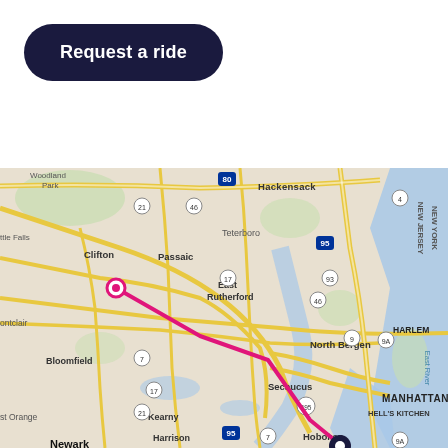Request a ride
[Figure (map): Street map of the New Jersey / New York area showing a pink route line from a point near Rutherford/Clifton area (pink circle origin) through Secaucus to Hell's Kitchen Manhattan (ending with a pin). Map shows neighborhoods including Hackensack, Teterboro, East Rutherford, North Bergen, Secaucus, Bloomfield, Kearny, Harrison, Newark, Hoboken, Manhattan, and highway labels (I-80, I-95, Route 3, Route 7, Route 9, Route 17, Route 21, Route 46, Route 93, Route 495, 9A).]